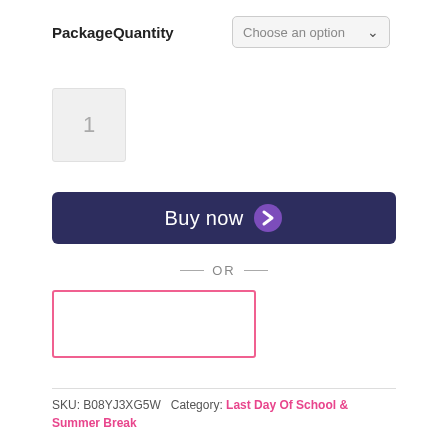PackageQuantity
[Figure (screenshot): Dropdown selector showing 'Choose an option' with a chevron arrow]
1
[Figure (screenshot): Buy now button with purple chevron icon on dark navy background]
— OR —
[Figure (screenshot): Empty pink-bordered rectangular input box]
SKU: B08YJ3XG5W  Category: Last Day Of School & Summer Break